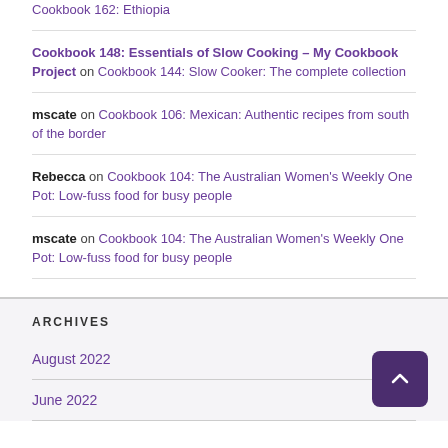Cookbook 162: Ethiopia
Cookbook 148: Essentials of Slow Cooking – My Cookbook Project on Cookbook 144: Slow Cooker: The complete collection
mscate on Cookbook 106: Mexican: Authentic recipes from south of the border
Rebecca on Cookbook 104: The Australian Women's Weekly One Pot: Low-fuss food for busy people
mscate on Cookbook 104: The Australian Women's Weekly One Pot: Low-fuss food for busy people
ARCHIVES
August 2022
June 2022